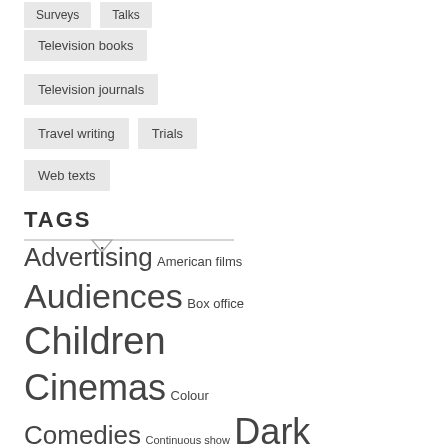Surveys
Talks
Television books
Television journals
Travel writing
Trials
Web texts
TAGS
Advertising American films Audiences Box office Children Cinemas Colour Comedies Continuous show Dark